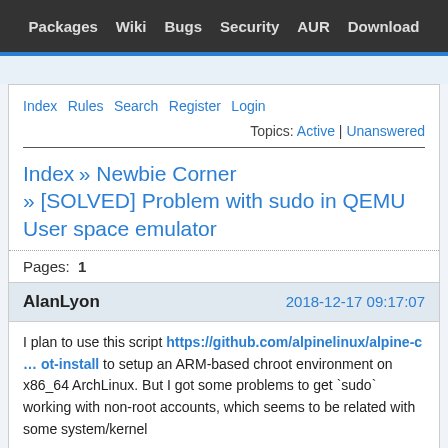Packages  Wiki  Bugs  Security  AUR  Download
Index  Rules  Search  Register  Login
Topics: Active | Unanswered
Index » Newbie Corner » [SOLVED] Problem with sudo in QEMU User space emulator
Pages: 1
AlanLyon   2018-12-17 09:17:07
I plan to use this script https://github.com/alpinelinux/alpine-c … ot-install to setup an ARM-based chroot environment on x86_64 ArchLinux. But I got some problems to get `sudo` working with non-root accounts, which seems to be related with some system/kernel